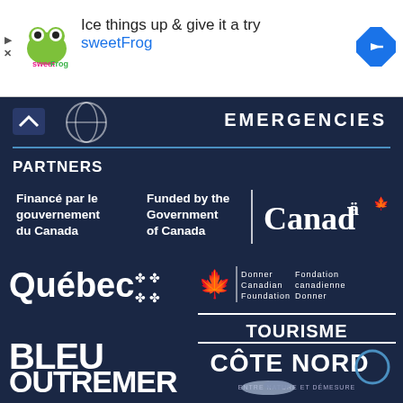[Figure (advertisement): SweetFrog advertisement banner with logo, text 'Ice things up & give it a try sweetFrog', and navigation arrow icon]
EMERGENCIES
PARTNERS
[Figure (logo): Funded by the Government of Canada / Financé par le gouvernement du Canada - Canada logo]
[Figure (logo): Québec fleur-de-lis logo]
[Figure (logo): Donner Canadian Foundation / Fondation canadienne Donner logo]
[Figure (logo): Bleu Outremer logo]
[Figure (logo): Tourisme Côte Nord - Entre nature et démesure logo]